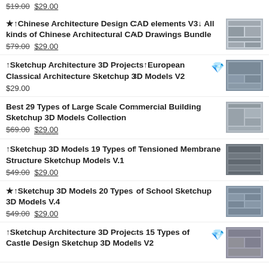$19.00 $29.00
★↑Chinese Architecture Design CAD elements V3↓ All kinds of Chinese Architectural CAD Drawings Bundle $79.00 $29.00
↑Sketchup Architecture 3D Projects↑European Classical Architecture Sketchup 3D Models V2 $29.00
Best 29 Types of Large Scale Commercial Building Sketchup 3D Models Collection $69.00 $29.00
↑Sketchup 3D Models 19 Types of Tensioned Membrane Structure Sketchup Models V.1 $49.00 $29.00
★↑Sketchup 3D Models 20 Types of School Sketchup 3D Models V.4 $49.00 $29.00
↑Sketchup Architecture 3D Projects 15 Types of Castle Design Sketchup 3D Models V2